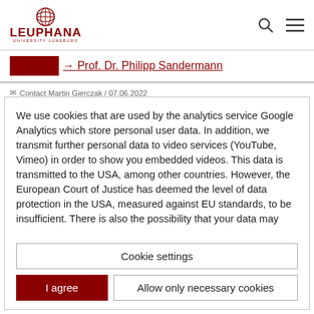LEUPHANA UNIVERSITY LÜNEBURG
→ Prof. Dr. Philipp Sandermann
Contact Martin Gierczak / 07.06.2022
We use cookies that are used by the analytics service Google Analytics which store personal user data. In addition, we transmit further personal data to video services (YouTube, Vimeo) in order to show you embedded videos. This data is transmitted to the USA, among other countries. However, the European Court of Justice has deemed the level of data protection in the USA, measured against EU standards, to be insufficient. There is also the possibility that your data may
Cookie settings
I agree
Allow only necessary cookies